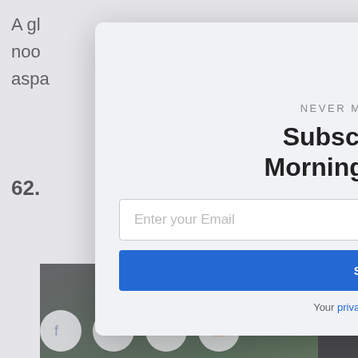A gl... noo... aspa...
62.
[Figure (photo): Food photo showing a bowl with vegetables, avocado, herbs, and sauces on a dark slate surface]
[Figure (screenshot): Newsletter subscription modal popup with windmill logo, 'NEVER MISS AN UPDATE' header, 'Subscribe to the Morning Newsletter' title, email input field, subscribe button, and privacy note]
Subscribe to the Morning Newsletter
NEVER MISS AN UPDATE
Enter your Email
SUBSCRIBE
Your privacy is important to us